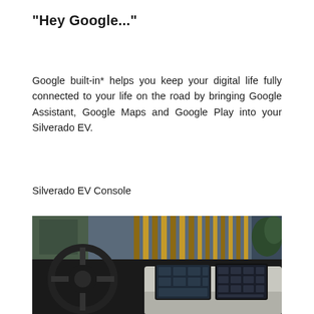"Hey Google..."
Google built-in* helps you keep your digital life fully connected to your life on the road by bringing Google Assistant, Google Maps and Google Play into your Silverado EV.
Silverado EV Console
[Figure (photo): Interior view of Silverado EV showing the dashboard, steering wheel, and large center console touchscreen display, with a modern building exterior visible through the windshield.]